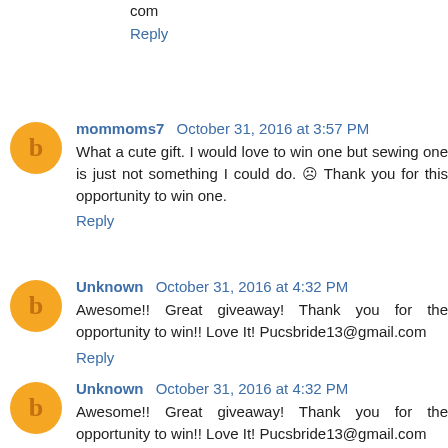com
Reply
mommoms7  October 31, 2016 at 3:57 PM
What a cute gift. I would love to win one but sewing one is just not something I could do. ☹ Thank you for this opportunity to win one.
Reply
Unknown  October 31, 2016 at 4:32 PM
Awesome!! Great giveaway! Thank you for the opportunity to win!! Love It! Pucsbride13@gmail.com
Reply
Unknown  October 31, 2016 at 4:32 PM
Awesome!! Great giveaway! Thank you for the opportunity to win!! Love It! Pucsbride13@gmail.com